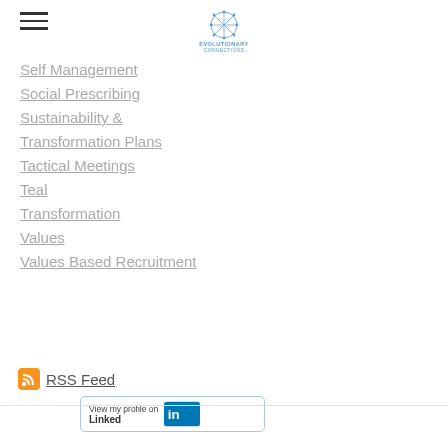[Figure (logo): Evolutionary Connections logo with circular design and blue text]
Self Management
Social Prescribing
Sustainability & Transformation Plans
Tactical Meetings
Teal
Transformation
Values
Values Based Recruitment
RSS Feed
[Figure (logo): LinkedIn View my profile button badge]